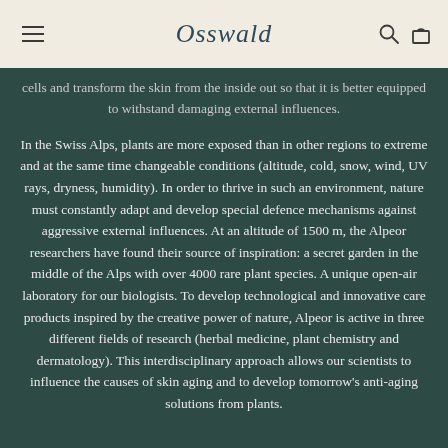Osswald
cells and transform the skin from the inside out so that it is better equipped to withstand damaging external influences.
In the Swiss Alps, plants are more exposed than in other regions to extreme and at the same time changeable conditions (altitude, cold, snow, wind, UV rays, dryness, humidity). In order to thrive in such an environment, nature must constantly adapt and develop special defence mechanisms against aggressive external influences. At an altitude of 1500 m, the Alpeor researchers have found their source of inspiration: a secret garden in the middle of the Alps with over 4000 rare plant species. A unique open-air laboratory for our biologists. To develop technological and innovative care products inspired by the creative power of nature, Alpeor is active in three different fields of research (herbal medicine, plant chemistry and dermatology). This interdisciplinary approach allows our scientists to influence the causes of skin aging and to develop tomorrow's anti-aging solutions from plants.